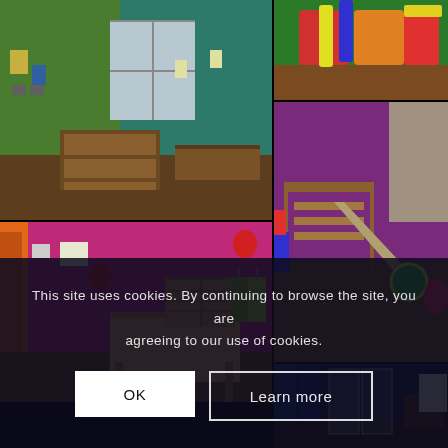[Figure (photo): Indoor classroom/nursery room with green and teal walls, wooden shelving unit, window, and educational materials on walls]
[Figure (photo): Play area with colourful soft play equipment including a red/yellow/blue structure on wooden floor]
[Figure (photo): Large indoor play room with purple/magenta walls, wooden climbing frame with slide, various toys, wooden floor]
[Figure (photo): Room with magenta/pink walls, wooden workbench/tool table, green high-visibility vests hanging, red hand prints on wall]
[Figure (photo): Dark indoor room with blue panels, sliding glass doors or panels visible]
This site uses cookies. By continuing to browse the site, you are agreeing to our use of cookies.
OK
Learn more